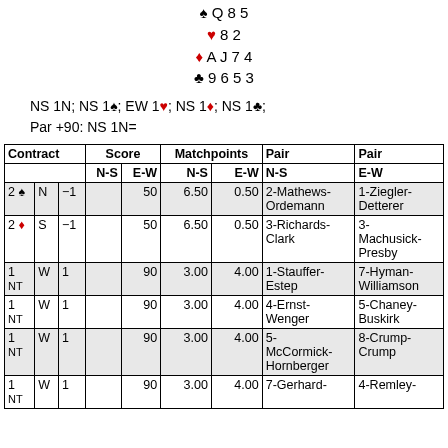♠ Q 8 5 ♥ 8 2 ♦ A J 7 4 ♣ 9 6 5 3
NS 1N; NS 1♠; EW 1♥; NS 1♦; NS 1♣; Par +90: NS 1N=
| Contract |  |  | Score N-S | Score E-W | Matchpoints N-S | Matchpoints E-W | Pair N-S | Pair E-W |
| --- | --- | --- | --- | --- | --- | --- | --- | --- |
| 2♠ | N | −1 |  | 50 | 6.50 | 0.50 | 2-Mathews-Ordemann | 1-Ziegler-Detterer |
| 2♦ | S | −1 |  | 50 | 6.50 | 0.50 | 3-Richards-Clark | 3-Machusick-Presby |
| 1NT | W | 1 |  | 90 | 3.00 | 4.00 | 1-Stauffer-Estep | 7-Hyman-Williamson |
| 1NT | W | 1 |  | 90 | 3.00 | 4.00 | 4-Ernst-Wenger | 5-Chaney-Buskirk |
| 1NT | W | 1 |  | 90 | 3.00 | 4.00 | 5-McCormick-Hornberger | 8-Crump-Crump |
| 1NT | W | 1 |  | 90 | 3.00 | 4.00 | 7-Gerhard- | 4-Remley- |